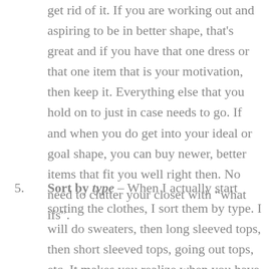get rid of it. If you are working out and aspiring to be in better shape, that's great and if you have that one dress or that one item that is your motivation, then keep it. Everything else that you hold on to just in case needs to go. If and when you do get into your ideal or goal shape, you can buy newer, better items that fit you well right then. No need to clutter your closet with “what ifs”.
Sort by type – When I actually start sorting the clothes, I sort them by type. I will do sweaters, then long sleeved tops, then short sleeved tops, going out tops, etc. It makes you realize when you have more than one type of a certain shirt and my rule for finding two very similar items is that I can’t keep both. You only need so many